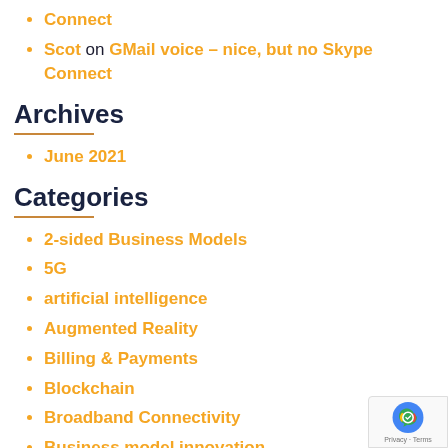Connect
Scot on GMail voice – nice, but no Skype Connect
Archives
June 2021
Categories
2-sided Business Models
5G
artificial intelligence
Augmented Reality
Billing & Payments
Blockchain
Broadband Connectivity
Business model innovation